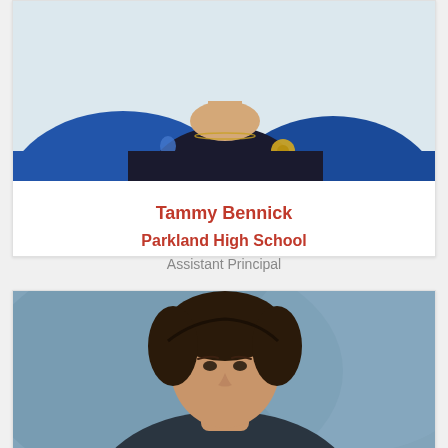[Figure (photo): Photo of Tammy Bennick, showing upper body in blue jacket over dark top with gold necklace and decorative brooch]
Tammy Bennick
Parkland High School
Assistant Principal
[Figure (photo): Photo of a second person with dark hair, shown from shoulders up against a blue-grey background]